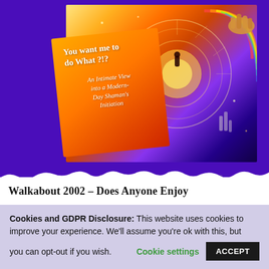[Figure (illustration): Book cover for 'You want me to do What ?!? An Intimate View into a Modern-Day Shaman's Initiation' displayed against a purple background. The cover features a mystical cosmic scene with a portal/circle, a silhouetted figure, rainbow arcs, golden hands, and an orange-red gradient card overlay showing the book title and subtitle.]
Walkabout 2002 – Does Anyone Enjoy
Cookies and GDPR Disclosure: This website uses cookies to improve your experience. We'll assume you're ok with this, but you can opt-out if you wish. Cookie settings ACCEPT